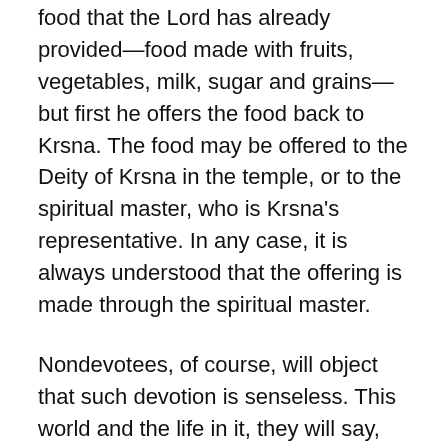food that the Lord has already provided—food made with fruits, vegetables, milk, sugar and grains—but first he offers the food back to Krsna. The food may be offered to the Deity of Krsna in the temple, or to the spiritual master, who is Krsna's representative. In any case, it is always understood that the offering is made through the spiritual master.
Nondevotees, of course, will object that such devotion is senseless. This world and the life in it, they will say, have sprung from an impersonal lifeless force. The perfect order and harmony of the universe originated from the dust of outer space. Life originally came from matter—from some chemicals that came together by chance. Krsna reciprocates with such dull materialists by remaining hidden from their view, until finally, at the end of their contaminated lives, He comes to them as death and takes